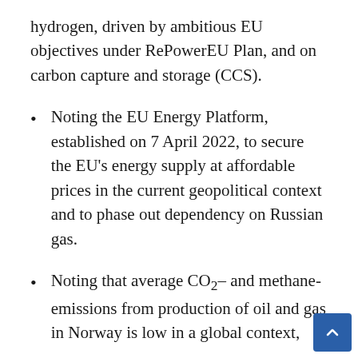hydrogen, driven by ambitious EU objectives under RePowerEU Plan, and on carbon capture and storage (CCS).
Noting the EU Energy Platform, established on 7 April 2022, to secure the EU's energy supply at affordable prices in the current geopolitical context and to phase out dependency on Russian gas.
Noting that average CO₂– and methane-emissions from production of oil and gas in Norway is low in a global context,